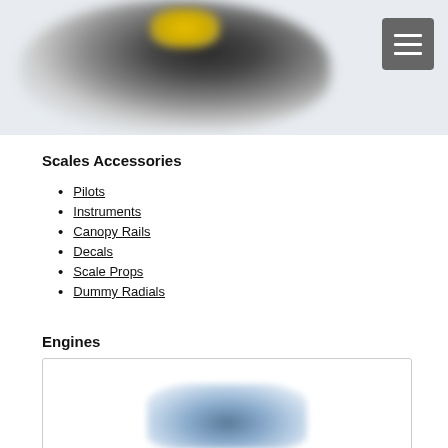[Figure (photo): Blurred photograph of a model aircraft with dark body and yellow accents, with a hamburger menu button in the top right corner]
Scales Accessories
Pilots
Instruments
Canopy Rails
Decals
Scale Props
Dummy Radials
Engines
[Figure (photo): Blurred photograph of a model engine inside a bordered box]